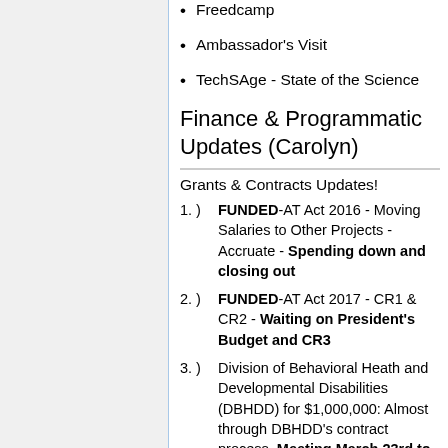Freedcamp
Ambassador's Visit
TechSAge - State of the Science
Finance & Programmatic Updates (Carolyn)
Grants & Contracts Updates!
) FUNDED-AT Act 2016 - Moving Salaries to Other Projects - Accruate - Spending down and closing out
) FUNDED-AT Act 2017 - CR1 & CR2 - Waiting on President's Budget and CR3
) Division of Behavioral Heath and Developmental Disabilities (DBHDD) for $1,000,000: Almost through DBHDD's contract process. Meeting March 23rd to